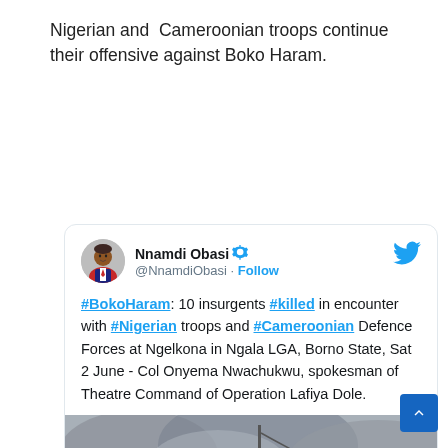Nigerian and Cameroonian troops continue their offensive against Boko Haram.
[Figure (screenshot): Embedded tweet from @NnamdiObasi with verified badge and Twitter bird logo. Tweet text: #BokoHaram: 10 insurgents #killed in encounter with #Nigerian troops and #Cameroonian Defence Forces at Ngelkona in Ngala LGA, Borno State, Sat 2 June - Col Onyema Nwachukwu, spokesman of Theatre Command of Operation Lafiya Dole. Includes a photo showing a smoky/dusty outdoor scene with a pole and silhouettes of people.]